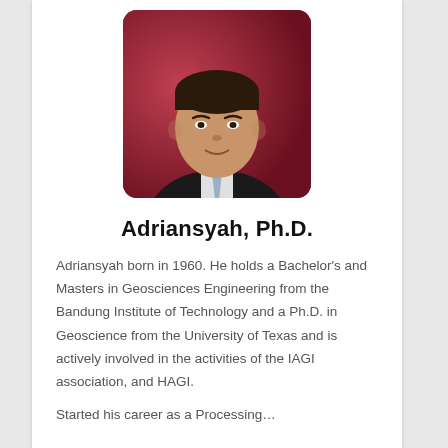[Figure (photo): Portrait photo of Adriansyah, Ph.D. — a man in a dark suit with a light tie, against a dark red/maroon background, with rounded corners.]
Adriansyah, Ph.D.
Adriansyah born in 1960. He holds a Bachelor's and Masters in Geosciences Engineering from the Bandung Institute of Technology and a Ph.D. in Geoscience from the University of Texas and is actively involved in the activities of the IAGI association, and HAGI.
Started his career as a Processing...